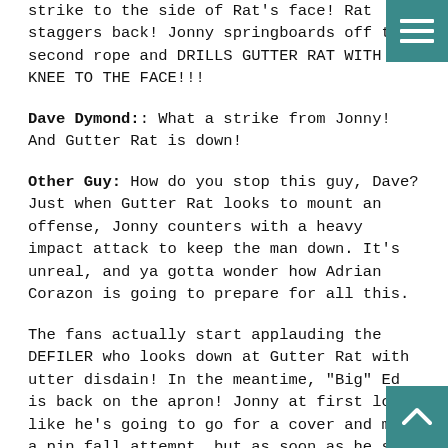strike to the side of Rat's face! Rat staggers back! Jonny springboards off the second rope and DRILLS GUTTER RAT WITH A KNEE TO THE FACE!!!
Dave Dymond: What a strike from Jonny! And Gutter Rat is down!
Other Guy: How do you stop this guy, Dave? Just when Gutter Rat looks to mount an offense, Jonny counters with a heavy impact attack to keep the man down. It's unreal, and ya gotta wonder how Adrian Corazon is going to prepare for all this.
The fans actually start applauding the DEFILER who looks down at Gutter Rat with utter disdain! In the meantime, "Big" Ed is back on the apron! Jonny at first looks like he's going to go for a cover and make a pin fall attempt, but as soon as he sees Ed on the apron, stops and backs up into the corner again.